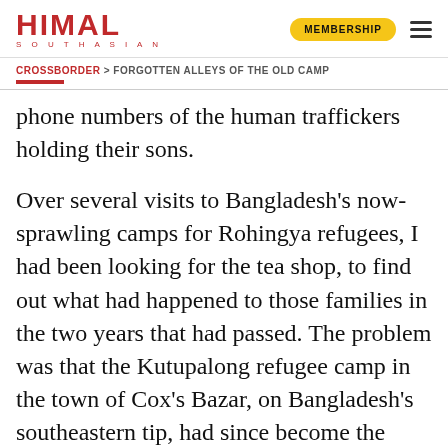HIMAL SOUTHASIAN | MEMBERSHIP
CROSSBORDER > FORGOTTEN ALLEYS OF THE OLD CAMP
phone numbers of the human traffickers holding their sons.
Over several visits to Bangladesh’s now-sprawling camps for Rohingya refugees, I had been looking for the tea shop, to find out what had happened to those families in the two years that had passed. The problem was that the Kutupalong refugee camp in the town of Cox’s Bazar, on Bangladesh’s southeastern tip, had since become the world’s largest –  sheltering